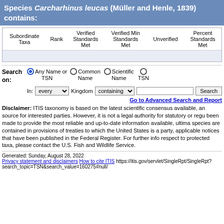Species Carcharhinus leucas (Müller and Henle, 1839) contains:
| Subordinate Taxa | Rank | Verified Standards Met | Verified Min Standards Met | Unverified | Percent Standards Met |
| --- | --- | --- | --- | --- | --- |
|  |
Search on: Any Name or TSN | Common Name | Scientific Name | TSN
In: every Kingdom containing Search
Go to Advanced Search and Report
Disclaimer: ITIS taxonomy is based on the latest scientific consensus available, and is intended as a reference source for interested parties. However, it is not a legal authority for statutory or regulatory purposes. While every effort has been made to provide the most reliable and up-to-date information available, ultimate legal requirements with respect to species are contained in provisions of treaties to which the United States is a party, wildlife statutes, regulations, and applicable notices that have been published in the Federal Register. For further information on U.S. legal requirements with respect to protected taxa, please contact the U.S. Fish and Wildlife Service.
Generated: Sunday, August 28, 2022
Privacy statement and disclaimers
How to cite ITIS
https://itis.gov/servlet/SingleRpt/SingleRpt?search_topic=TSN&search_value=160275#null/